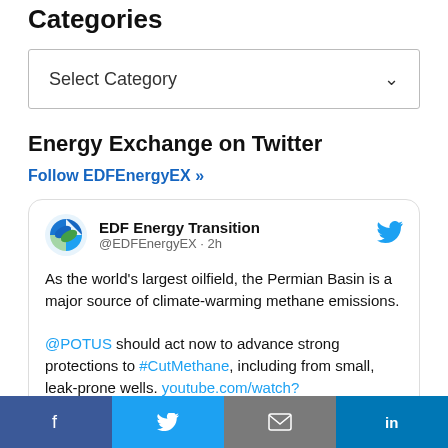Categories
Select Category
Energy Exchange on Twitter
Follow EDFEnergyEX »
[Figure (screenshot): Tweet card from EDF Energy Transition (@EDFEnergyEX · 2h): 'As the world's largest oilfield, the Permian Basin is a major source of climate-warming methane emissions. @POTUS should act now to advance strong protections to #CutMethane, including from small, leak-prone wells. youtube.com/watch?']
Facebook | Twitter | Email | LinkedIn share buttons